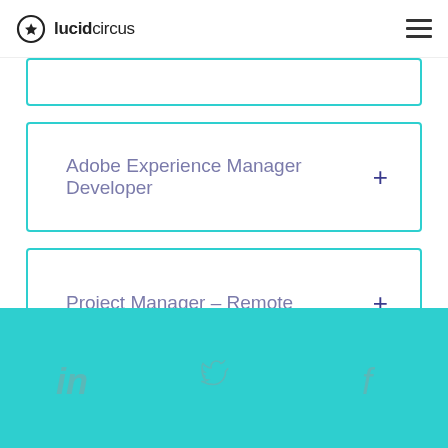lucidcircus
Adobe Experience Manager Developer
Project Manager – Remote
Social icons: LinkedIn, Twitter, Facebook